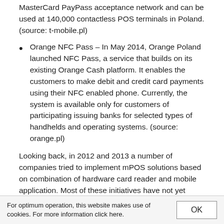MasterCard PayPass acceptance network and can be used at 140,000 contactless POS terminals in Poland. (source: t-mobile.pl)
Orange NFC Pass – In May 2014, Orange Poland launched NFC Pass, a service that builds on its existing Orange Cash platform. It enables the customers to make debit and credit card payments using their NFC enabled phone. Currently, the system is available only for customers of participating issuing banks for selected types of handhelds and operating systems. (source: orange.pl)
Looking back, in 2012 and 2013 a number of companies tried to implement mPOS solutions based on combination of hardware card reader and mobile application. Most of these initiatives have not yet managed to receive Visa and MasterCard certification, with a notable exception of mPeP – a
For optimum operation, this website makes use of cookies. For more information click here.